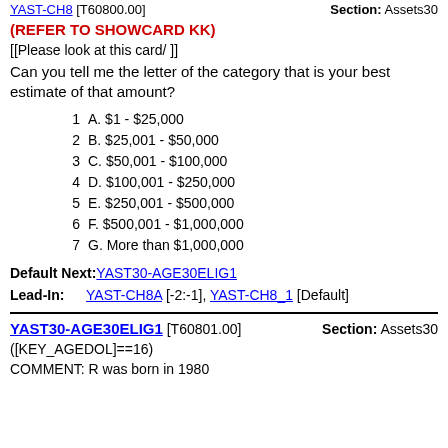YAST-CH8 [T60800.00]   Section: Assets30
(REFER TO SHOWCARD KK)
[[Please look at this card/ ]]
Can you tell me the letter of the category that is your best estimate of that amount?
1   A. $1 - $25,000
2   B. $25,001 - $50,000
3   C. $50,001 - $100,000
4   D. $100,001 - $250,000
5   E. $250,001 - $500,000
6   F. $500,001 - $1,000,000
7   G. More than $1,000,000
Default Next: YAST30-AGE30ELIG1
Lead-In: YAST-CH8A [-2:-1], YAST-CH8_1 [Default]
YAST30-AGE30ELIG1 [T60801.00]   Section: Assets30
([KEY_AGEDOL]==16)
COMMENT: R was born in 1980